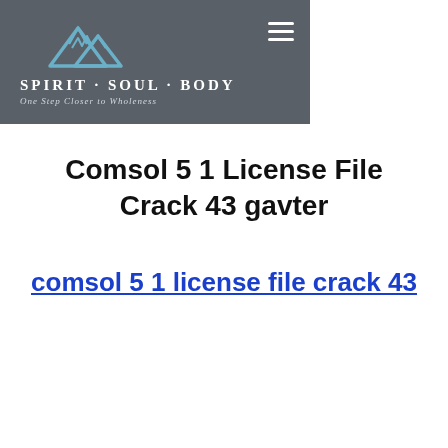[Figure (logo): Spirit Soul Body logo with mountain peaks icon, tagline 'One Step Closer to Wholeness', on dark gray background with hamburger menu icon]
Comsol 5 1 License File Crack 43 gavter
comsol 5 1 license file crack 43